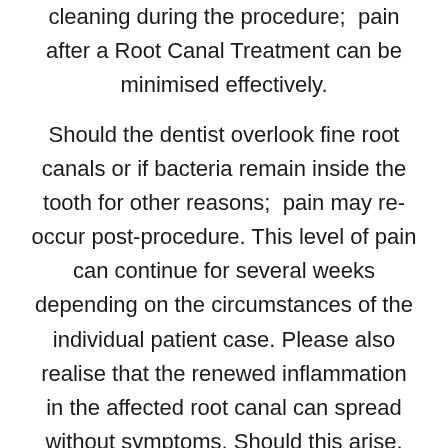cleaning during the procedure;  pain after a Root Canal Treatment can be minimised effectively.
Should the dentist overlook fine root canals or if bacteria remain inside the tooth for other reasons;  pain may re-occur post-procedure. This level of pain can continue for several weeks depending on the circumstances of the individual patient case. Please also realise that the renewed inflammation in the affected root canal can spread without symptoms. Should this arise, the issue is usually discovered by a member of your expert dental team during a routine examination or when an X-ray of the oral cavity is taken for other reasons.